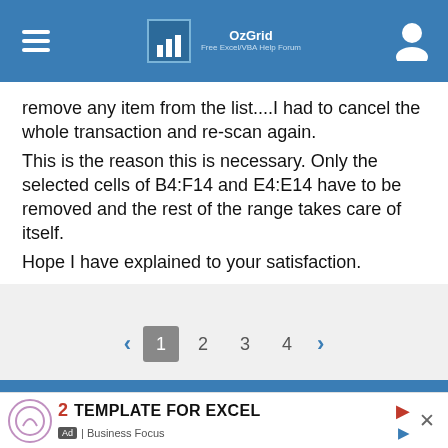OzGrid — Free Excel/VBA Help Forum
remove any item from the list....I had to cancel the whole transaction and re-scan again.
This is the reason this is necessary. Only the selected cells of B4:F14 and E4:E14 have to be removed and the rest of the range takes care of itself.
Hope I have explained to your satisfaction.
< 1 2 3 4 >
Privacy Policy
This site uses cookies. By continuing to browse this site, you are
2 TEMPLATE FOR EXCEL